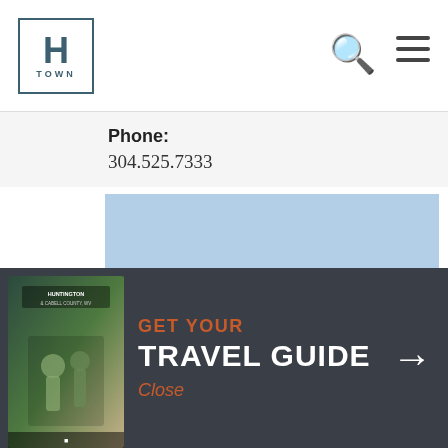H TOWN
Phone:
304.525.7333
[Figure (map): Google Maps screenshot showing Heritage Center, arris Riverfront Park, United States Postal Service, street labels including 10th St, 11th St. Blue water area at top, yellow road curving through center.]
[Figure (photo): Travel guide brochure cover showing Huntington & Cabell County with outdoor/nature imagery]
GET YOUR
TRAVEL GUIDE
Close